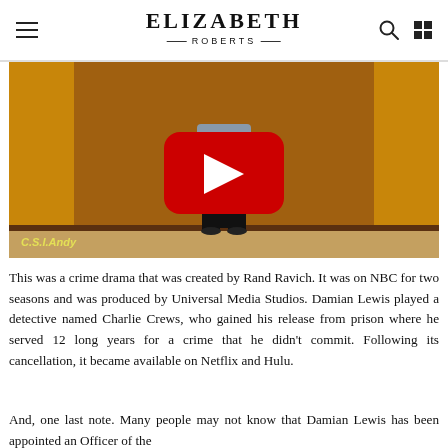ELIZABETH ROBERTS
[Figure (screenshot): A YouTube video thumbnail showing a person standing in a room with wooden walls, with a red YouTube play button overlay. Watermark text 'C.S.I.Andy' visible in lower left.]
This was a crime drama that was created by Rand Ravich. It was on NBC for two seasons and was produced by Universal Media Studios. Damian Lewis played a detective named Charlie Crews, who gained his release from prison where he served 12 long years for a crime that he didn't commit. Following its cancellation, it became available on Netflix and Hulu.
And, one last note. Many people may not know that Damian Lewis has been appointed an Officer of the